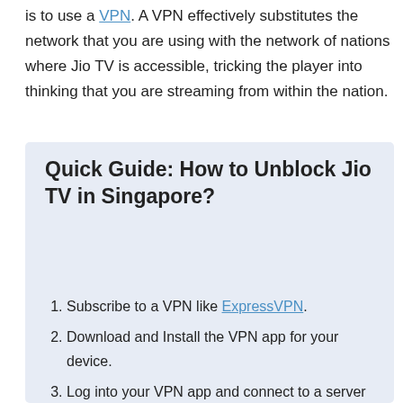is to use a VPN. A VPN effectively substitutes the network that you are using with the network of nations where Jio TV is accessible, tricking the player into thinking that you are streaming from within the nation.
Quick Guide: How to Unblock Jio TV in Singapore?
Subscribe to a VPN like ExpressVPN.
Download and Install the VPN app for your device.
Log into your VPN app and connect to a server in India.